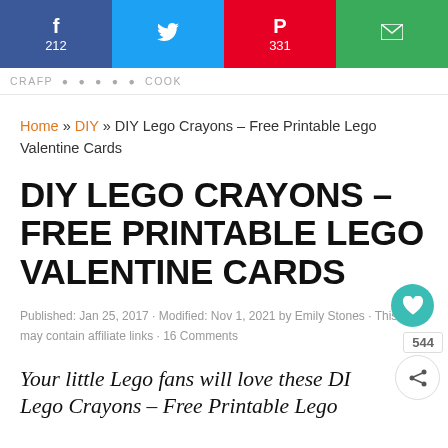Share bar: Facebook 212, Twitter, Pinterest 331, Email
CRAFP... COOK
Home » DIY » DIY Lego Crayons – Free Printable Lego Valentine Cards
DIY LEGO CRAYONS – FREE PRINTABLE LEGO VALENTINE CARDS
Published: Jan 25, 2017 · Modified: Nov 1, 2021 by Emily Stones · This post may contain affiliate links · 16 Comments
Your little Lego fans will love these DIY Lego Crayons – Free Printable Lego